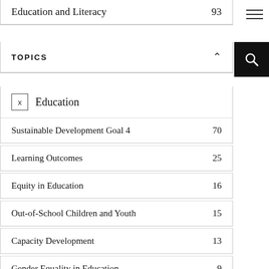Education and Literacy 93
TOPICS
Education (selected)
Sustainable Development Goal 4  70
Learning Outcomes  25
Equity in Education  16
Out-of-School Children and Youth  15
Capacity Development  13
Gender Equality in Education  9
Teachers  9
Literacy  7